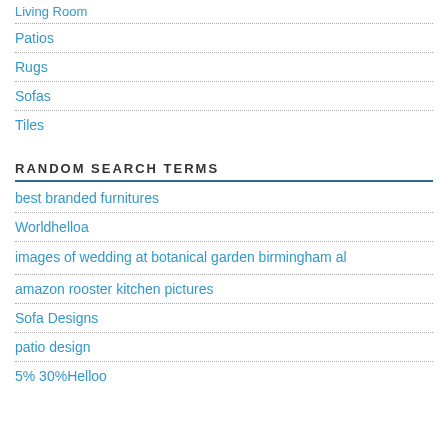Living Room
Patios
Rugs
Sofas
Tiles
RANDOM SEARCH TERMS
best branded furnitures
Worldhelloa
images of wedding at botanical garden birmingham al
amazon rooster kitchen pictures
Sofa Designs
patio design
5% 30%Helloo